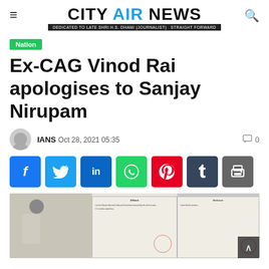CITY AIR NEWS — DEDICATED TO LATE SHRI H.S. DHAMI (JOURNALIST) · STRAIGHT FORWARD
Nation
Ex-CAG Vinod Rai apologises to Sanjay Nirupam
IANS  Oct 28, 2021 05:35    💬 0
[Figure (screenshot): Social share buttons: Facebook, Twitter, LinkedIn, WhatsApp, Pinterest, Tumblr, Print]
[Figure (photo): Photo of a man in white shirt alongside images of official documents with stamps]